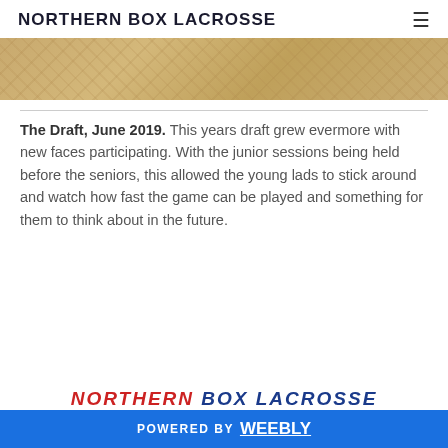NORTHERN BOX LACROSSE
[Figure (photo): Tan/beige textured banner image resembling a lacrosse floor or wooden surface]
The Draft, June 2019. This years draft grew evermore with new faces participating. With the junior sessions being held before the seniors, this allowed the young lads to stick around and watch how fast the game can be played and something for them to think about in the future.
[Figure (logo): Northern Box Lacrosse logo with NORTHERN in red italic and BOX LACROSSE in blue italic]
POWERED BY weebly